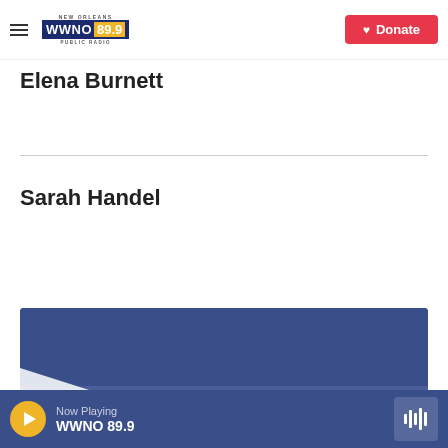WWNO 89.9 NEW ORLEANS PUBLIC RADIO — Donate
Elena Burnett
Sarah Handel
[Figure (screenshot): Blue card/banner with white angular graphic, partially visible]
Now Playing WWNO 89.9